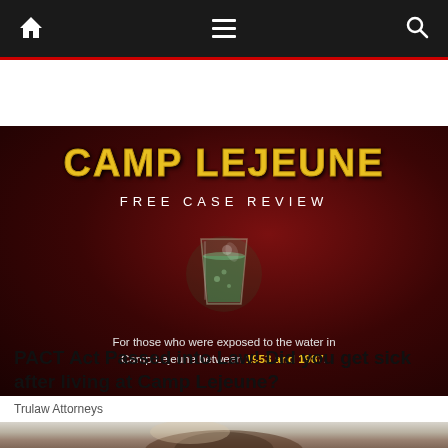Navigation bar with home icon, hamburger menu, and search icon
[Figure (infographic): Camp Lejeune advertisement banner with dark red background, yellow distressed text reading CAMP LEJEUNE, white text FREE CASE REVIEW, a glass of greenish contaminated water, and body text: For those who were exposed to the water in Camp Lejeune between 1953 and 1987.]
PACT Act Passed into Law! Did you get sick after living at Camp Lejeune?
Trulaw Attorneys
[Figure (photo): Partial photo of a woman with dark hair pulled back, light background, bottom of page]